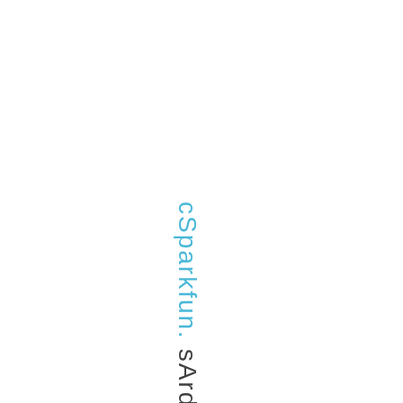cSparkfun. sArduinoPro)withnoadd